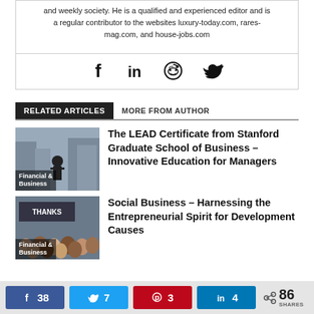a regular contributor to the websites luxury-today.com, rares-mag.com, and house-jobs.com
[Figure (other): Social media icons: Facebook, LinkedIn, Reddit, Twitter]
RELATED ARTICLES | MORE FROM AUTHOR
[Figure (photo): Thumbnail image of a person standing in front of city buildings with label Financial & Business]
The LEAD Certificate from Stanford Graduate School of Business – Innovative Education for Managers
[Figure (photo): Thumbnail image of a group of people with a banner in the background, label Financial & Business]
Social Business – Harnessing the Entrepreneurial Spirit for Development Causes
38 shares on Facebook, 7 on Twitter, 3 on Pinterest, 4 on LinkedIn, 86 total SHARES